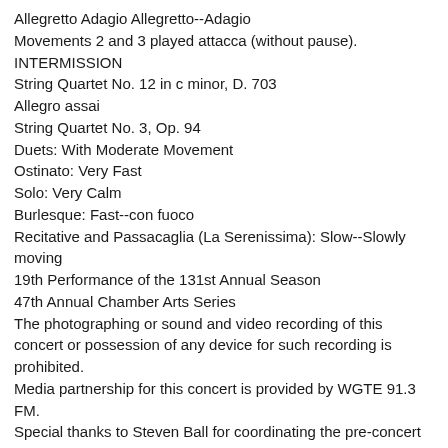Allegretto Adagio Allegretto--Adagio
Movements 2 and 3 played attacca (without pause).
INTERMISSION
String Quartet No. 12 in c minor, D. 703
Allegro assai
String Quartet No. 3, Op. 94
Duets: With Moderate Movement
Ostinato: Very Fast
Solo: Very Calm
Burlesque: Fast--con fuoco
Recitative and Passacaglia (La Serenissima): Slow--Slowly moving
19th Performance of the 131st Annual Season
47th Annual Chamber Arts Series
The photographing or sound and video recording of this concert or possession of any device for such recording is prohibited.
Media partnership for this concert is provided by WGTE 91.3 FM.
Special thanks to Steven Ball for coordinating the pre-concert music on the Charles Baird Carillon
Belcea Quartet appears by arrangement with Arts Management Group Inc. Belcea Quartet records for EMI Classics.
Large print programs are available upon request.